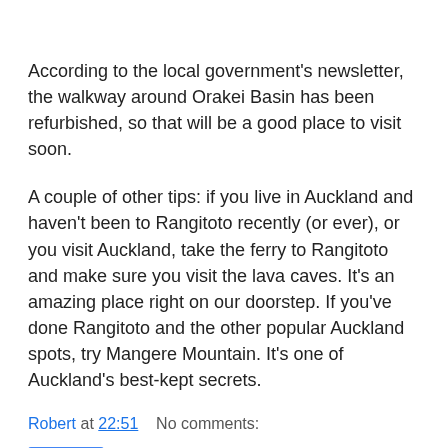According to the local government's newsletter, the walkway around Orakei Basin has been refurbished, so that will be a good place to visit soon.
A couple of other tips: if you live in Auckland and haven't been to Rangitoto recently (or ever), or you visit Auckland, take the ferry to Rangitoto and make sure you visit the lava caves. It's an amazing place right on our doorstep. If you've done Rangitoto and the other popular Auckland spots, try Mangere Mountain. It's one of Auckland's best-kept secrets.
Robert at 22:51    No comments:
Share
Saturday, 17 March 2012